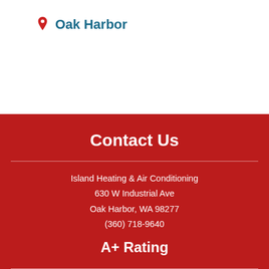Oak Harbor
Contact Us
Island Heating & Air Conditioning
630 W Industrial Ave
Oak Harbor, WA 98277
(360) 718-9640
A+ Rating